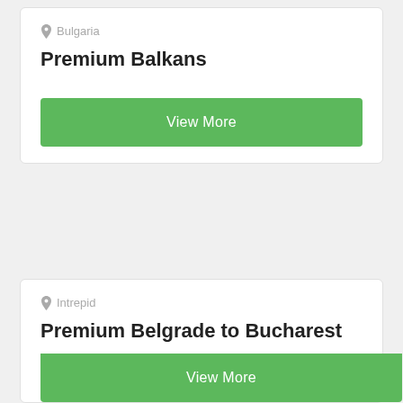Bulgaria
Premium Balkans
View More
Intrepid
Premium Belgrade to Bucharest
View More